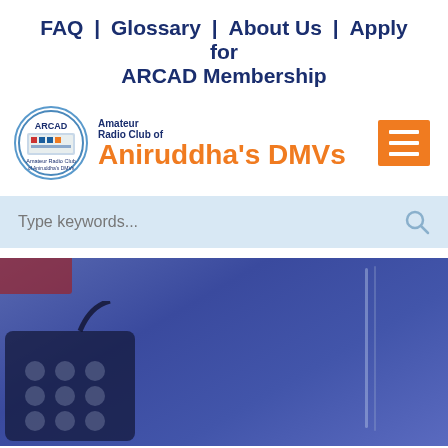FAQ | Glossary | About Us | Apply for ARCAD Membership
[Figure (logo): ARCAD - Amateur Radio Club of Aniruddha's DMVs logo with circular emblem and hamburger menu button]
Type keywords...
[Figure (photo): Hero image showing amateur radio equipment (transceiver/microphone) and antenna against a blue/purple tinted background]